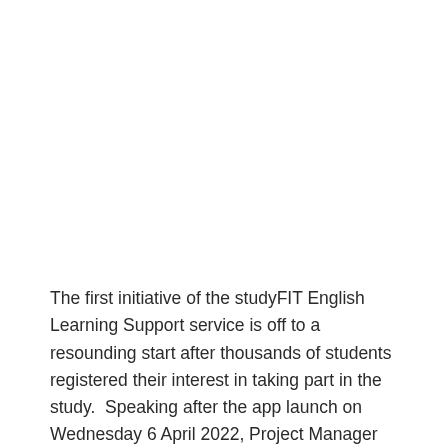The first initiative of the studyFIT English Learning Support service is off to a resounding start after thousands of students registered their interest in taking part in the study.  Speaking after the app launch on Wednesday 6 April 2022, Project Manager